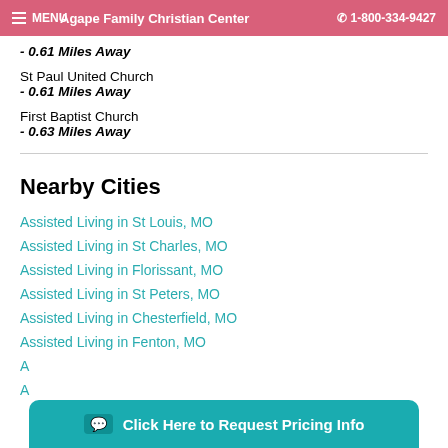MENU | Agape Family Christian Center | 1-800-334-9427
- 0.61 Miles Away
St Paul United Church
- 0.61 Miles Away
First Baptist Church
- 0.63 Miles Away
Nearby Cities
Assisted Living in St Louis, MO
Assisted Living in St Charles, MO
Assisted Living in Florissant, MO
Assisted Living in St Peters, MO
Assisted Living in Chesterfield, MO
Assisted Living in Fenton, MO
A...
A...
Click Here to Request Pricing Info